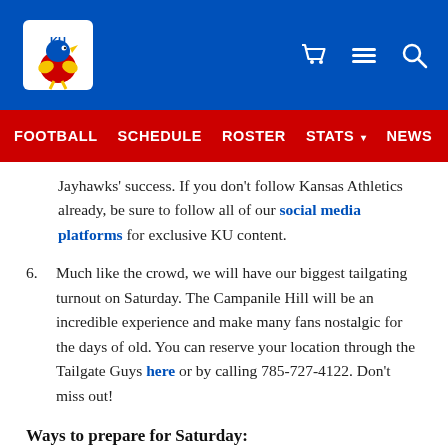KU Athletics header with logo and navigation icons
FOOTBALL | SCHEDULE | ROSTER | STATS ▾ | NEWS | TICKETS
Jayhawks' success. If you don't follow Kansas Athletics already, be sure to follow all of our social media platforms for exclusive KU content.
6. Much like the crowd, we will have our biggest tailgating turnout on Saturday. The Campanile Hill will be an incredible experience and make many fans nostalgic for the days of old. You can reserve your location through the Tailgate Guys here or by calling 785-727-4122. Don't miss out!
Ways to prepare for Saturday:
1. There is no doubt that Saturday will be another electric environment. We've all been waiting for the day that our home